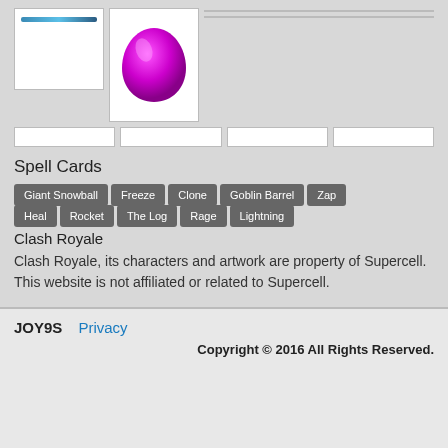[Figure (screenshot): Top-left card image placeholder with blue bar]
[Figure (illustration): Magenta/pink drop/teardrop shape on white card background]
[Figure (other): Empty white bar placeholder top right 1]
[Figure (other): Empty white bar placeholder top right 2]
[Figure (other): Empty white bar placeholder row 2, col 1]
[Figure (other): Empty white bar placeholder row 2, col 2]
[Figure (other): Empty white bar placeholder row 2, col 3]
[Figure (other): Empty white bar placeholder row 2, col 4]
Spell Cards
Giant Snowball
Freeze
Clone
Goblin Barrel
Zap
Heal
Rocket
The Log
Rage
Lightning
Clash Royale
Clash Royale, its characters and artwork are property of Supercell. This website is not affiliated or related to Supercell.
JOY9S   Privacy   Copyright © 2016 All Rights Reserved.